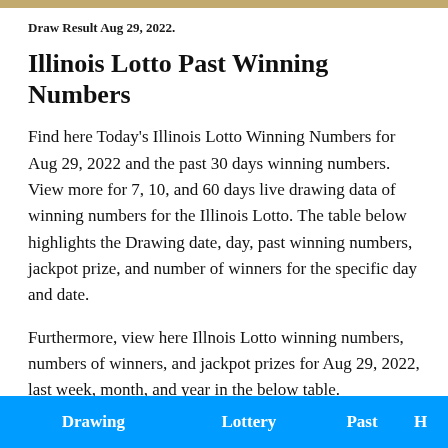Draw Result Aug 29, 2022.
Illinois Lotto Past Winning Numbers
Find here Today's Illinois Lotto Winning Numbers for Aug 29, 2022 and the past 30 days winning numbers. View more for 7, 10, and 60 days live drawing data of winning numbers for the Illinois Lotto. The table below highlights the Drawing date, day, past winning numbers, jackpot prize, and number of winners for the specific day and date.
Furthermore, view here Illnois Lotto winning numbers, numbers of winners, and jackpot prizes for Aug 29, 2022, last week, month, and year in the below table.
| Drawing | Lottery | Past | H |
| --- | --- | --- | --- |